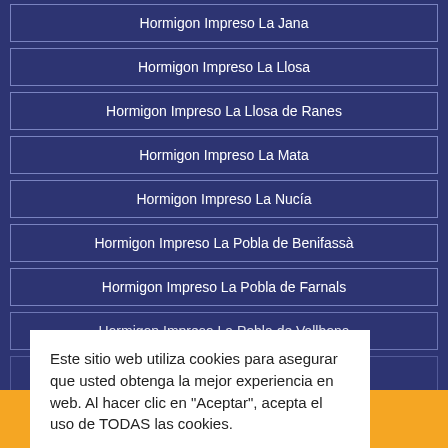Hormigon Impreso La Jana
Hormigon Impreso La Llosa
Hormigon Impreso La Llosa de Ranes
Hormigon Impreso La Mata
Hormigon Impreso La Nucía
Hormigon Impreso La Pobla de Benifassà
Hormigon Impreso La Pobla de Farnals
Hormigon Impreso La Pobla de Vallbona
Este sitio web utiliza cookies para asegurar que usted obtenga la mejor experiencia en web. Al hacer clic en "Aceptar", acepta el uso de TODAS las cookies.
¡Llámenos! 666 036 981